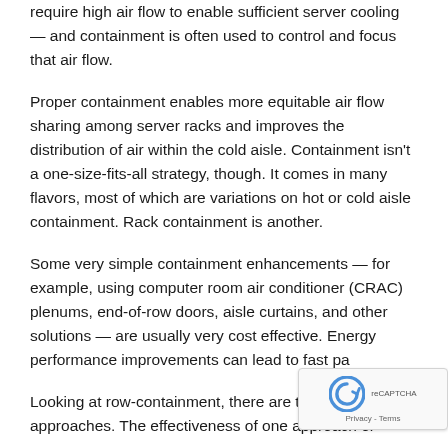require high air flow to enable sufficient server cooling — and containment is often used to control and focus that air flow.
Proper containment enables more equitable air flow sharing among server racks and improves the distribution of air within the cold aisle. Containment isn't a one-size-fits-all strategy, though. It comes in many flavors, most of which are variations on hot or cold aisle containment. Rack containment is another.
Some very simple containment enhancements — for example, using computer room air conditioner (CRAC) plenums, end-of-row doors, aisle curtains, and other solutions — are usually very cost effective. Energy performance improvements can lead to fast pa...
Looking at row-containment, there are two typica... approaches. The effectiveness of one approach or...